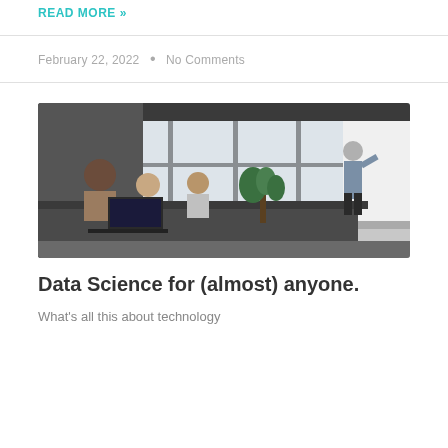READ MORE »
February 22, 2022  •  No Comments
[Figure (photo): A business meeting scene in a modern conference room with floor-to-ceiling windows. Several people are seated around a dark conference table with laptops. A man is standing at a whiteboard on the right side of the image.]
Data Science for (almost) anyone.
What's all this about technology